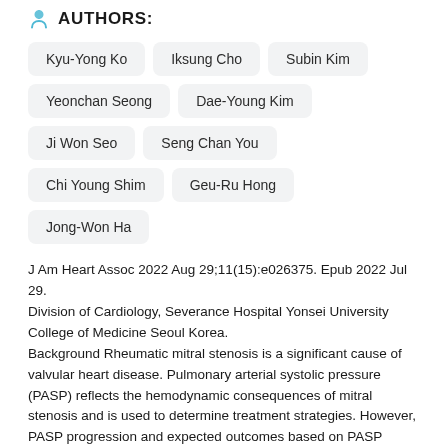AUTHORS:
Kyu-Yong Ko
Iksung Cho
Subin Kim
Yeonchan Seong
Dae-Young Kim
Ji Won Seo
Seng Chan You
Chi Young Shim
Geu-Ru Hong
Jong-Won Ha
J Am Heart Assoc 2022 Aug 29;11(15):e026375. Epub 2022 Jul 29.
Division of Cardiology, Severance Hospital Yonsei University College of Medicine Seoul Korea.
Background Rheumatic mitral stenosis is a significant cause of valvular heart disease. Pulmonary arterial systolic pressure (PASP) reflects the hemodynamic consequences of mitral stenosis and is used to determine treatment strategies. However, PASP progression and expected outcomes based on PASP